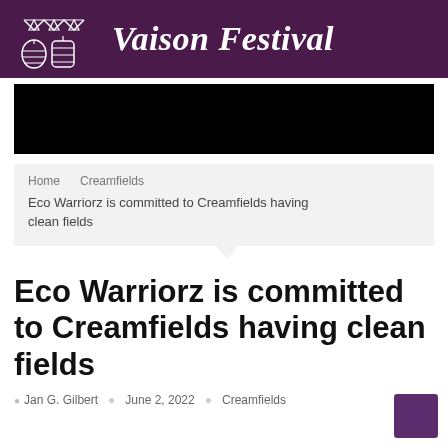Vaison Festival
[Figure (other): Black image banner area below the festival header]
Home  Creamfields
Eco Warriorz is committed to Creamfields having clean fields
Eco Warriorz is committed to Creamfields having clean fields
Jan G. Gilbert   June 2, 2022   Creamfields